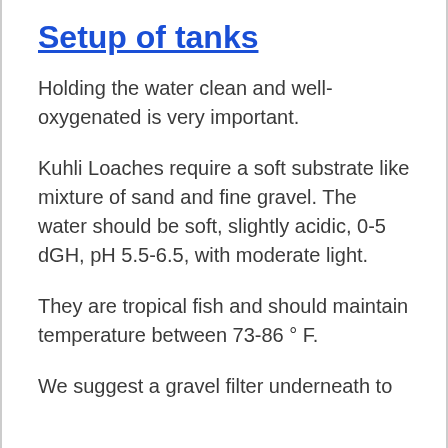Setup of tanks
Holding the water clean and well-oxygenated is very important.
Kuhli Loaches require a soft substrate like mixture of sand and fine gravel. The water should be soft, slightly acidic, 0-5 dGH, pH 5.5-6.5, with moderate light.
They are tropical fish and should maintain temperature between 73-86 ° F.
We suggest a gravel filter underneath to